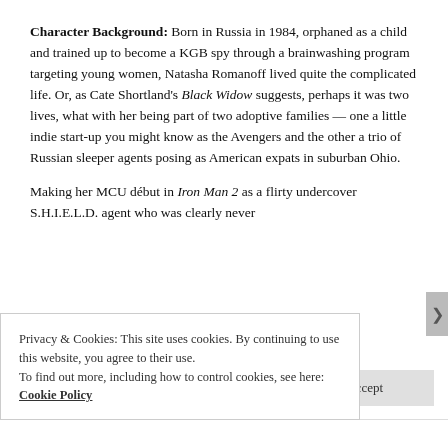Character Background: Born in Russia in 1984, orphaned as a child and trained up to become a KGB spy through a brainwashing program targeting young women, Natasha Romanoff lived quite the complicated life. Or, as Cate Shortland's Black Widow suggests, perhaps it was two lives, what with her being part of two adoptive families — one a little indie start-up you might know as the Avengers and the other a trio of Russian sleeper agents posing as American expats in suburban Ohio.
Making her MCU début in Iron Man 2 as a flirty undercover S.H.I.E.L.D. agent who was clearly never going to be just a foil for Tony Stark's...
Privacy & Cookies: This site uses cookies. By continuing to use this website, you agree to their use.
To find out more, including how to control cookies, see here: Cookie Policy
Close and accept